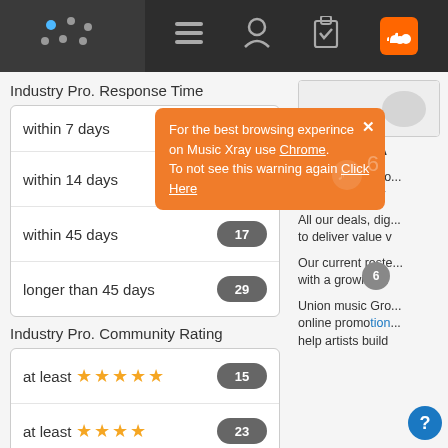[Figure (screenshot): Top navigation bar with logo (dot grid), hamburger menu, user icon, clipboard icon, and SoundCloud orange icon]
Industry Pro. Response Time
| Response Time | Count |
| --- | --- |
| within 7 days |  |
| within 14 days | 6 |
| within 45 days | 17 |
| longer than 45 days | 29 |
Industry Pro. Community Rating
| Rating | Count |
| --- | --- |
| at least ★★★★★ | 15 |
| at least ★★★★ | 23 |
| at least ★★★ | 25 |
| at least ★★ | 25 |
For the best browsing experince on Music Xray use Chrome. To not see this warning again Click Here
Seeking New A
Union Music Gro... would be happy
All our deals, dig... to deliver value v
Our current roste... with a growing n
Union music Gro... online promotion... help artists build